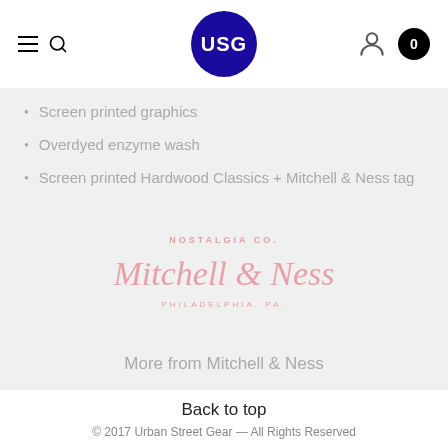USG navigation header with hamburger menu, search icon, USG logo, user icon, and cart (0)
Screen printed graphics
Overdyed enzyme wash
Screen printed Hardwood Classics + Mitchell & Ness tag
[Figure (logo): Mitchell & Ness logo: NOSTALGIA CO. / Mitchell & Ness / PHILADELPHIA, PA in pink script and serif lettering]
More from Mitchell & Ness
Back to top
© 2017 Urban Street Gear — All Rights Reserved